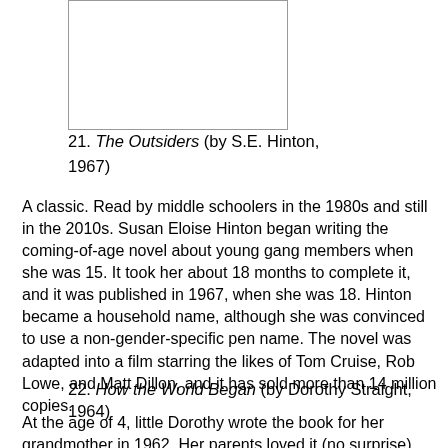[Figure (other): Blank book cover image placeholder with border]
21. The Outsiders (by S.E. Hinton, 1967)
A classic. Read by middle schoolers in the 1980s and still in the 2010s. Susan Eloise Hinton began writing the coming-of-age novel about young gang members when she was 15. It took her about 18 months to complete it, and it was published in 1967, when she was 18. Hinton became a household name, although she was convinced to use a non-gender-specific pen name. The novel was adapted into a film starring the likes of Tom Cruise, Rob Lowe, and Matt Dillon, and it has sold more than 14 million copies.
22. How the World Began (by Dorothy Straight, 1964)
At the age of 4, little Dorothy wrote the book for her grandmother in 1962. Her parents loved it (no surprise), decided to seek out a publisher (somewhat of a surprise) and found one (big surprise). Pantheon Books published it in